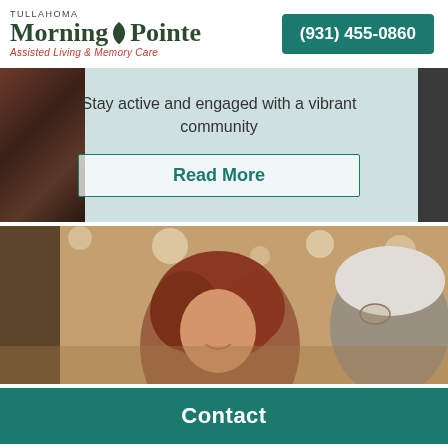[Figure (logo): Tullahoma Morning Pointe Assisted Living & Memory Care logo with leaf/tree emblem]
(931) 455-0860
Stay active and engaged with a vibrant community
Read More
[Figure (photo): A smiling red-haired woman in a café or community dining setting with an older man with white hair visible to the right]
Contact